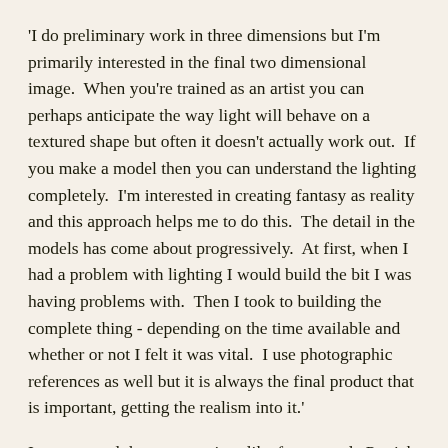'I do preliminary work in three dimensions but I'm primarily interested in the final two dimensional image.  When you're trained as an artist you can perhaps anticipate the way light will behave on a textured shape but often it doesn't actually work out.  If you make a model then you can understand the lighting completely.  I'm interested in creating fantasy as reality and this approach helps me to do this.  The detail in the models has come about progressively.  At first, when I had a problem with lighting I would build the bit I was having problems with.  Then I took to building the complete thing - depending on the time available and whether or not I felt it was vital.  I use photographic references as well but it is always the final product that is important, getting the realism into it.'
I commented that some artists, like for example Patrick Woodroffe, actually use reality in their paintings, like photographs, marquetry for wood texture and so on.  What was Tim's view on this approach?
'My paintings are just that, paintings.  I try to achieve photo-realism but I wouldn't consider using actual photographs and re-